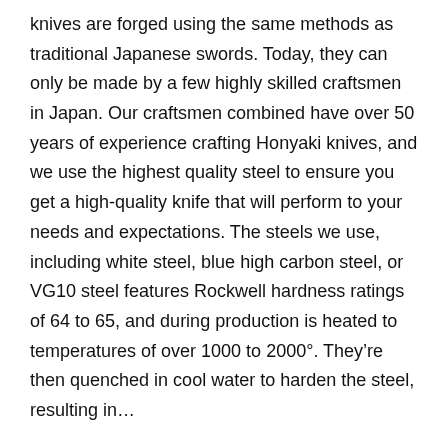knives are forged using the same methods as traditional Japanese swords. Today, they can only be made by a few highly skilled craftsmen in Japan. Our craftsmen combined have over 50 years of experience crafting Honyaki knives, and we use the highest quality steel to ensure you get a high-quality knife that will perform to your needs and expectations. The steels we use, including white steel, blue high carbon steel, or VG10 steel features Rockwell hardness ratings of 64 to 65, and during production is heated to temperatures of over 1000 to 2000°. They're then quenched in cool water to harden the steel, resulting in…
Read More